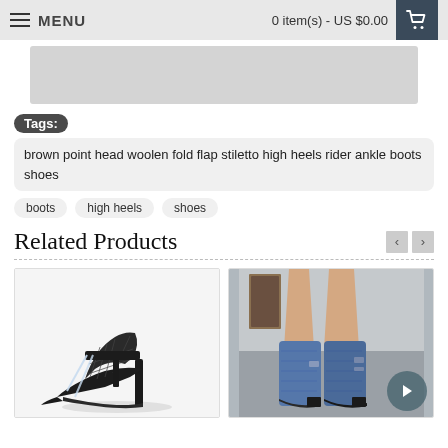MENU | 0 item(s) - US $0.00
[Figure (photo): Partial product image placeholder (grey rectangle)]
Tags: brown point head woolen fold flap stiletto high heels rider ankle boots shoes
boots
high heels
shoes
Related Products
[Figure (photo): Black stiletto heeled sandal with lace detail and T-strap, product photo on white background]
[Figure (photo): Blue denim ankle boots with block heel, worn by a person sitting on grey surface, lifestyle photo]